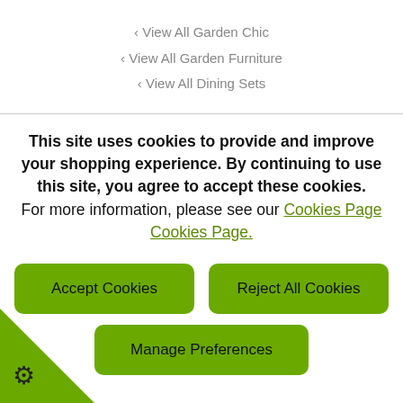‹ View All Garden Chic
‹ View All Garden Furniture
‹ View All Dining Sets
This site uses cookies to provide and improve your shopping experience. By continuing to use this site, you agree to accept these cookies. For more information, please see our Cookies Page Cookies Page.
Accept Cookies
Reject All Cookies
Manage Preferences